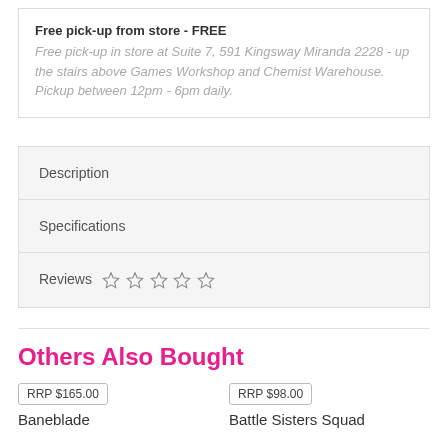Free pick-up from store - FREE
Free pick-up in store at Suite 7, 591 Kingsway Miranda 2228 - up the stairs above Games Workshop and Chemist Warehouse. Pickup between 12pm - 6pm daily.
Description
Specifications
Reviews ☆ ☆ ☆ ☆ ☆
Others Also Bought
RRP $165.00
Baneblade
RRP $98.00
Battle Sisters Squad